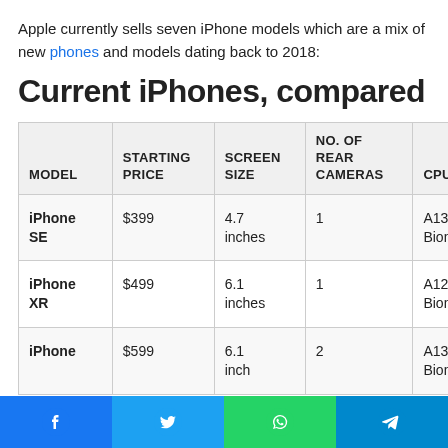Apple currently sells seven iPhone models which are a mix of new phones and models dating back to 2018:
Current iPhones, compared
| MODEL | STARTING PRICE | SCREEN SIZE | NO. OF REAR CAMERAS | CPU | RELEASE DATE |
| --- | --- | --- | --- | --- | --- |
| iPhone SE | $399 | 4.7 inches | 1 | A13 Bionic | April 20 |
| iPhone XR | $499 | 6.1 inches | 1 | A12 Bionic | Oct. 20 |
| iPhone 11 | $599 | 6.1 inches | 2 | A13 Bionic | Sept. 2019 |